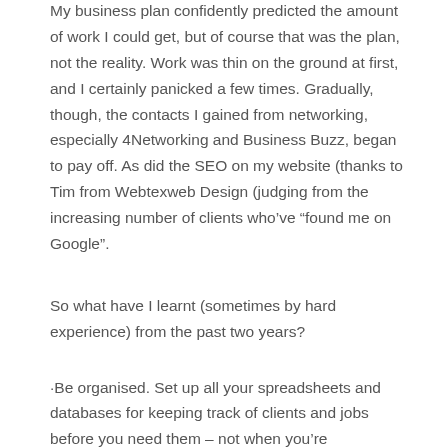My business plan confidently predicted the amount of work I could get, but of course that was the plan, not the reality. Work was thin on the ground at first, and I certainly panicked a few times. Gradually, though, the contacts I gained from networking, especially 4Networking and Business Buzz, began to pay off. As did the SEO on my website (thanks to Tim from Webtexweb Design (judging from the increasing number of clients who've “found me on Google”.
So what have I learnt (sometimes by hard experience) from the past two years?
·Be organised. Set up all your spreadsheets and databases for keeping track of clients and jobs before you need them – not when you're desperately trying to sort out what you need to get done by tomorrow.
·Don't use downtime looking at cute cats on Facebook. Downtime is an opportunity to go out and look for business, tweak your website, update your blog. Cute cats aren’t normally potential